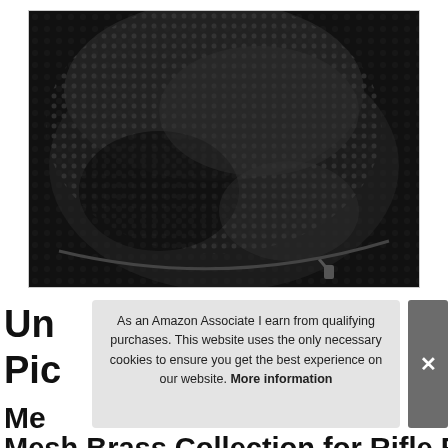[Figure (photo): Close-up photo of a black mesh zipper bag/pouch with fine netting material and a zipper pull visible at the bottom right, on a white background with a light gray border.]
As an Amazon Associate I earn from qualifying purchases. This website uses the only necessary cookies to ensure you get the best experience on our website. More information
Ultimate Packing Mesh Brass Collection for Rifle Range